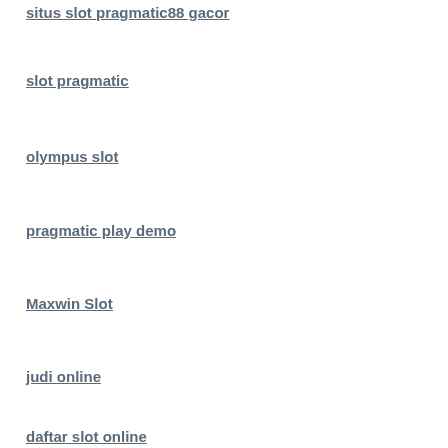situs slot pragmatic88 gacor
slot pragmatic
olympus slot
pragmatic play demo
Maxwin Slot
judi online
daftar slot online